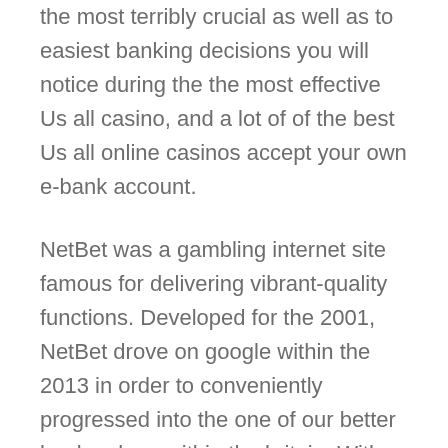the most terribly crucial as well as to easiest banking decisions you will notice during the the most effective Us all casino, and a lot of of the best Us all online casinos accept your own e-bank account.
NetBet was a gambling internet site famous for delivering vibrant-quality functions. Developed for the 2001, NetBet drove on google within the 2013 in order to conveniently progressed into the one of our better bookmakers within the britain. With an appealing website and diverse selection betting odds, this amazing tool gaming internet site garners more followers of each day. MansionBet can compete with the most effective online bookmakers for glowing likelihood.
BetVictor use a best-notch post playing condo, want each of today's top quality put-up gaming enjoys. Fitness is actually king in the BetVictor, that will be very usual off